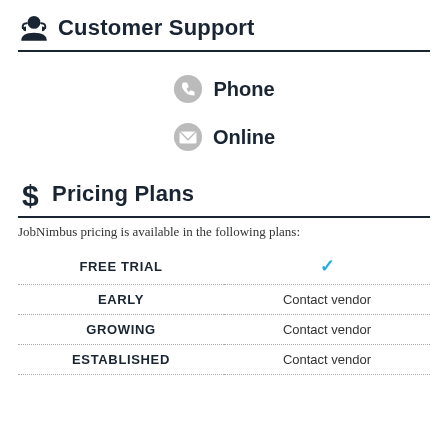Customer Support
Phone
Online
Pricing Plans
JobNimbus pricing is available in the following plans:
|  |  |
| --- | --- |
| FREE TRIAL | ✓ |
| EARLY | Contact vendor |
| GROWING | Contact vendor |
| ESTABLISHED | Contact vendor |